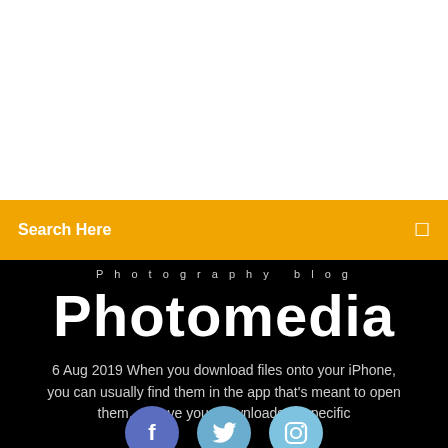[Figure (screenshot): White section at top of page, representing empty image area]
Search Here
Photography blog
Photomedia
6 Aug 2019 When you download files onto your iPhone, you can usually find them in the app that's meant to open them, or save your downloads to specific
[Figure (other): Social media icons: Facebook, Twitter, Instagram]